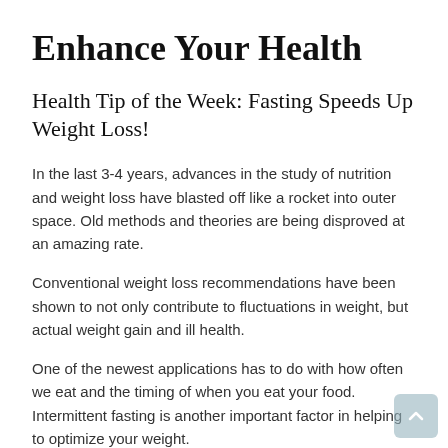Enhance Your Health
Health Tip of the Week: Fasting Speeds Up Weight Loss!
In the last 3-4 years, advances in the study of nutrition and weight loss have blasted off like a rocket into outer space. Old methods and theories are being disproved at an amazing rate.
Conventional weight loss recommendations have been shown to not only contribute to fluctuations in weight, but actual weight gain and ill health.
One of the newest applications has to do with how often we eat and the timing of when you eat your food. Intermittent fasting is another important factor in helping to optimize your weight.
According to doctors who have researched intermittent fasting, our ancient ancestors did not have access to food 24/7, so our genetics are optimized to having food at variable intervals, not